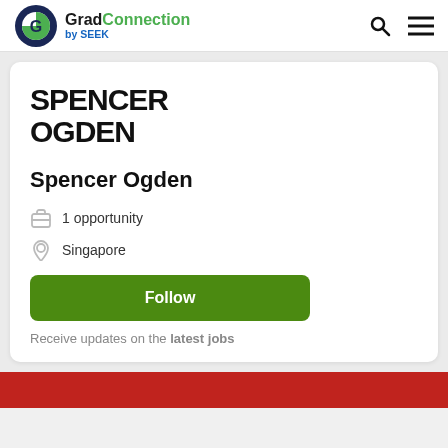GradConnection by SEEK
[Figure (logo): Spencer Ogden company logo — bold uppercase black text SPENCER OGDEN]
Spencer Ogden
1 opportunity
Singapore
Follow
Receive updates on the latest jobs